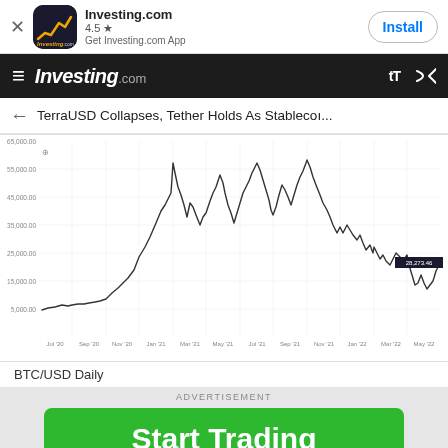[Figure (screenshot): Investing.com app install banner with app icon, 4.5 star rating, and Install button]
Investing.com navigation bar
TerraUSD Collapses, Tether Holds As Stablecoi...
[Figure (continuous-plot): BTC/USD Daily price chart from Jul '20 to May '22, showing price rise from ~10,000 to peak ~65,000 in Apr '21, second peak ~68,000 in Nov '21, then decline to ~28,273.46 by May '22. Y-axis shows values from 5,000 to 65,000+. X-axis labels: Jul '20, Sep '20, Nov '20, Jan '21, Mar '21, May '21, Jul '21, Sep '21, Nov '21, Jan '22, Mar '22, May '22]
BTC/USD Daily
ADVERTISEMENT
[Figure (other): Start Trading green button advertisement with AD label]